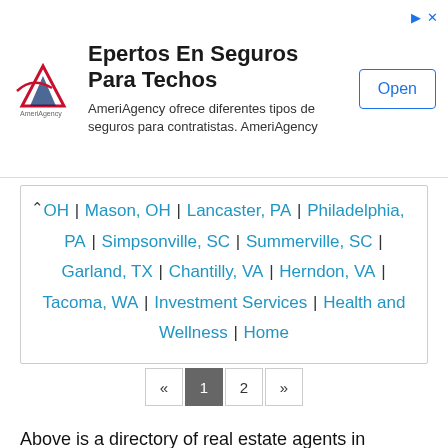[Figure (other): AmeriAgency advertisement banner for roof insurance in Spanish. Shows AmeriAgency logo, title 'Epertos En Seguros Para Techos', subtitle 'AmeriAgency ofrece diferentes tipos de seguros para contratistas. AmeriAgency', and an 'Open' button.]
OH | Mason, OH | Lancaster, PA | Philadelphia, PA | Simpsonville, SC | Summerville, SC | Garland, TX | Chantilly, VA | Herndon, VA | Tacoma, WA | Investment Services | Health and Wellness | Home
« 1 2 »
Above is a directory of real estate agents in Carrollton, TX. If you are looking for real estate agents, you might find a lot of real estate agents listed in this Carrollton, TX directory of real estate agents. We hope to help you to find the best real estate agents in Carrollton, TX!